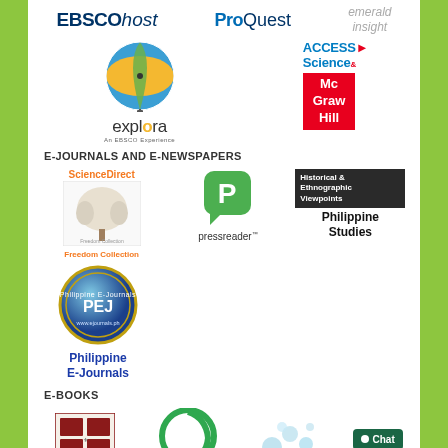[Figure (logo): EBSCOhost logo - blue bold text with italic host]
[Figure (logo): ProQuest logo - blue text]
[Figure (logo): emerald insight logo - grey text two lines]
[Figure (logo): Explora EBSCO Experience logo with colorful globe icon]
[Figure (logo): Access Science logo with blue text and arrow]
[Figure (logo): McGraw Hill logo red square with white text]
E-JOURNALS AND E-NEWSPAPERS
[Figure (logo): ScienceDirect Freedom Collection logo with tree illustration]
[Figure (logo): pressreader logo with green speech bubble P icon]
[Figure (logo): Philippine Studies Historical & Ethnographic Viewpoints dark box logo]
[Figure (logo): Philippine E-Journals PEJ circular badge logo]
E-BOOKS
[Figure (logo): Cambridge University Press logo with coat of arms]
[Figure (logo): Green circular logo]
[Figure (logo): Light blue dots logo]
[Figure (infographic): Chat button - dark green rounded rectangle with white circle and Chat text]